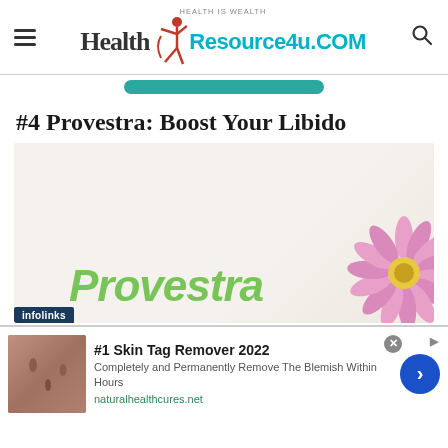HEALTH IS WEALTH Health Resource4u.COM
#4 Provestra: Boost Your Libido
[Figure (photo): Product image of Provestra supplement with a pink daisy flower in the corner and green Provestra text, on a light beige background. Infolinks overlay label at bottom left.]
[Figure (photo): Advertisement banner: skin tag removal image on left, #1 Skin Tag Remover 2022 heading, body text 'Completely and Permanently Remove The Blemish Within Hours', URL naturalhealthcures.net, blue arrow button on right, close X button.]